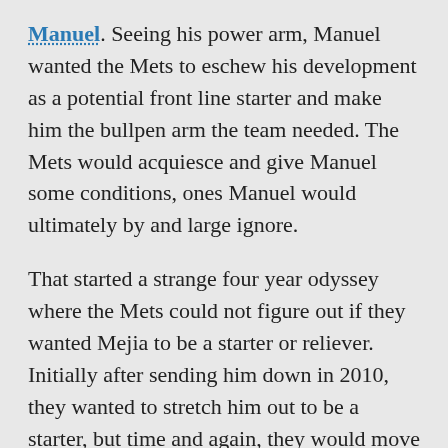Manuel. Seeing his power arm, Manuel wanted the Mets to eschew his development as a potential front line starter and make him the bullpen arm the team needed. The Mets would acquiesce and give Manuel some conditions, ones Manuel would ultimately by and large ignore.
That started a strange four year odyssey where the Mets could not figure out if they wanted Mejia to be a starter or reliever. Initially after sending him down in 2010, they wanted to stretch him out to be a starter, but time and again, they would move him back to the bullpen. That may have been a factor in his needing Tommy John surgery in 2011.
You could somewhat understand the Mets thinking. Mejia was one of the best pitchers in the organization, and for a team in perpetual need of